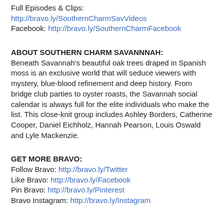Full Episodes & Clips:
http://bravo.ly/SouthernCharmSavVideos
Facebook: http://bravo.ly/SouthernCharmFacebook
ABOUT SOUTHERN CHARM SAVANNNAH:
Beneath Savannah's beautiful oak trees draped in Spanish moss is an exclusive world that will seduce viewers with mystery, blue-blood refinement and deep history. From bridge club parties to oyster roasts, the Savannah social calendar is always full for the elite individuals who make the list. This close-knit group includes Ashley Borders, Catherine Cooper, Daniel Eichholz, Hannah Pearson, Louis Oswald and Lyle Mackenzie.
GET MORE BRAVO:
Follow Bravo: http://bravo.ly/Twitter
Like Bravo: http://bravo.ly/Facebook
Pin Bravo: http://bravo.ly/Pinterest
Bravo Instagram: http://bravo.ly/Instagram